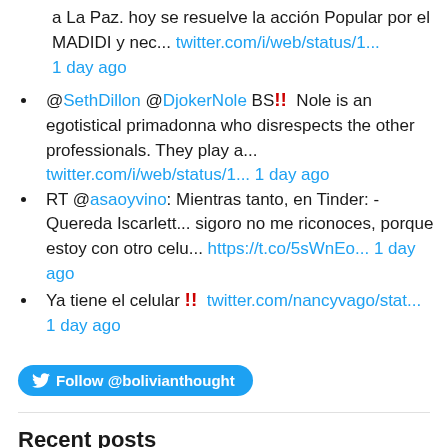Buen dia... les pido fraternalmente puedan apoyar a La Paz. hoy se resuelve la acción Popular por el MADIDI y nec... twitter.com/i/web/status/1... 1 day ago
@SethDillon @DjokerNole BS!! Nole is an egotistical primadonna who disrespects the other professionals. They play a... twitter.com/i/web/status/1... 1 day ago
RT @asaoyvino: Mientras tanto, en Tinder: - Quereda Iscarlett... sigoro no me riconoces, porque estoy con otro celu... https://t.co/5sWnEo... 1 day ago
Ya tiene el celular !! twitter.com/nancyvago/stat... 1 day ago
[Figure (other): Follow @bolivianthought button]
Recent posts